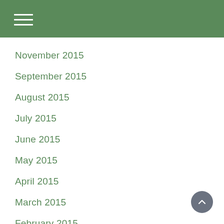November 2015
September 2015
August 2015
July 2015
June 2015
May 2015
April 2015
March 2015
February 2015
January 2015
December 2014